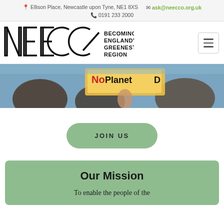📍 Ellison Place, Newcastle upon Tyne, NE1 8XS  ✉ ask@neecco.org.uk  📞 0191 233 2000
[Figure (logo): NEECCO logo with text 'BECOMING ENGLAND'S GREENEST REGION' and hamburger navigation menu button]
[Figure (photo): A protest scene showing someone holding a sign reading 'No Planet B' with blurred crowd in the background]
JOIN US
Our Mission
To enable the people of the